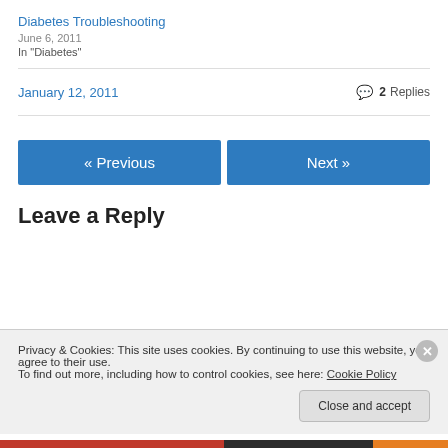Diabetes Troubleshooting
June 6, 2011
In "Diabetes"
January 12, 2011
2 Replies
« Previous
Next »
Leave a Reply
Privacy & Cookies: This site uses cookies. By continuing to use this website, you agree to their use.
To find out more, including how to control cookies, see here: Cookie Policy
Close and accept